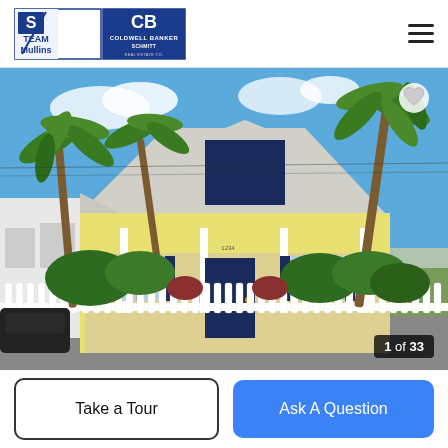[Figure (logo): Team Mullins and Coldwell Banker Schmitt Real Estate Co. logos]
[Figure (photo): Exterior photo of a Key West style house with white picket fence, yellow siding, dark shutters, palm trees, and blue sky. Image counter shows 1 of 33.]
Take a Tour
Ask A Question